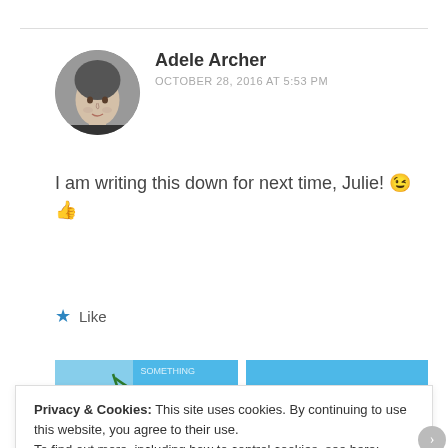[Figure (photo): Round avatar photo of Adele Archer, a woman with short dark curly hair, black and white photo]
Adele Archer
OCTOBER 28, 2016 AT 5:53 PM
I am writing this down for next time, Julie! 😉👍
★ Like
[Figure (screenshot): Related posts strip showing beach/palm tree photo with number 05 and a blue tiled background panel]
Privacy & Cookies: This site uses cookies. By continuing to use this website, you agree to their use.
To find out more, including how to control cookies, see here:
Cookie Policy
Close and accept